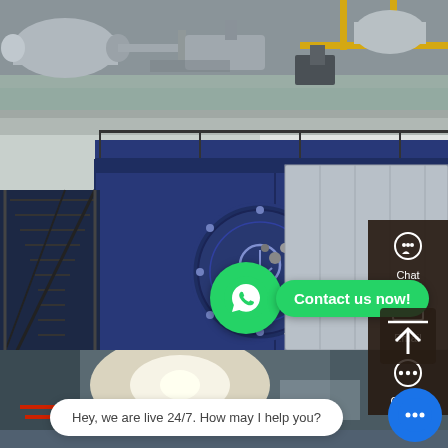[Figure (photo): Industrial boiler/machinery room top view showing large cylindrical pressure vessels with silver insulation, yellow pipes, and industrial equipment in a grey concrete floor facility]
[Figure (photo): Large industrial gas-fired boiler unit in navy blue color with metal staircases, handrails, circular front burner door marked '3', yellow gas pipes with red arrow labels, inside large industrial building with white walls]
[Figure (photo): Bottom strip showing industrial boiler welding/fabrication area with bright light flashing and pipes/components being assembled]
[Figure (infographic): WhatsApp green round button with white phone icon and green pill-shaped bubble saying 'Contact us now!' in white bold text]
Chat
Email
Contac
Hey, we are live 24/7. How may I help you?